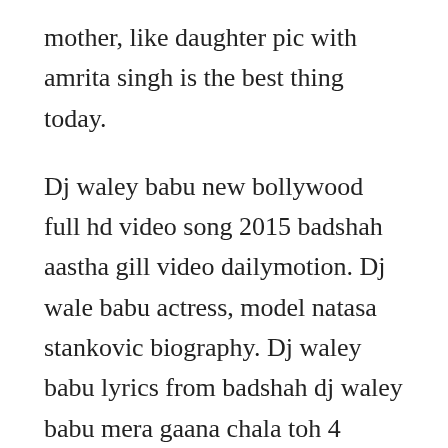mother, like daughter pic with amrita singh is the best thing today.
Dj waley babu new bollywood full hd video song 2015 badshah aastha gill video dailymotion. Dj wale babu actress, model natasa stankovic biography. Dj waley babu lyrics from badshah dj waley babu mera gaana chala toh 4 gaana chal toh. Dj waley babu lyrics from the movie singles sung by badshah, aastha gill. She attended ballet dance school for seventeen years, then she started modeling in serbia. Download dj waley babu